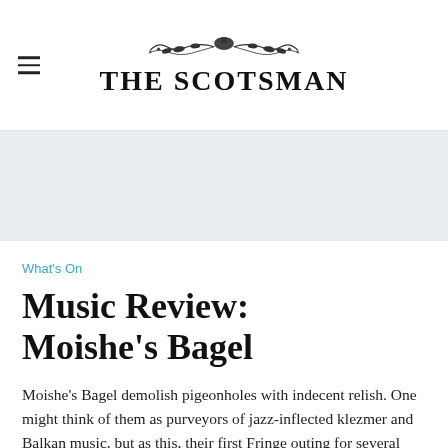THE SCOTSMAN
[Figure (other): Gray advertisement banner placeholder]
What's On
Music Review: Moishe's Bagel
Moishe's Bagel demolish pigeonholes with indecent relish. One might think of them as purveyors of jazz-inflected klezmer and Balkan music, but as this, their first Fringe outing for several years, gleefully